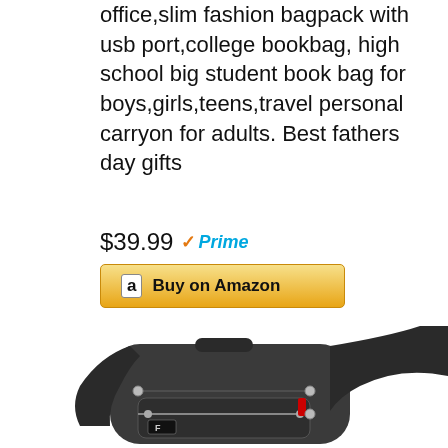office,slim fashion bagpack with usb port,college bookbag, high school big student book bag for boys,girls,teens,travel personal carryon for adults. Best fathers day gifts
$39.99 Prime
Buy on Amazon
[Figure (photo): Dark gray/charcoal backpack with multiple zippered compartments, metal zipper pulls, a top carry handle, shoulder straps, and a logo patch on the front lower pocket.]